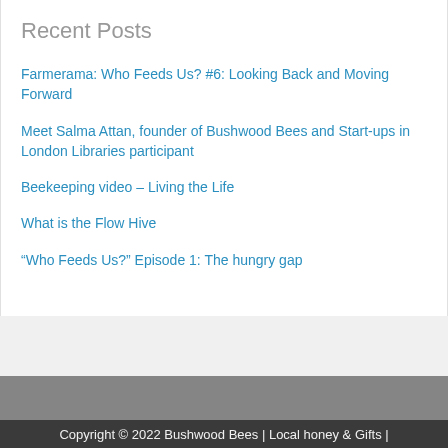Recent Posts
Farmerama: Who Feeds Us? #6: Looking Back and Moving Forward
Meet Salma Attan, founder of Bushwood Bees and Start-ups in London Libraries participant
Beekeeping video – Living the Life
What is the Flow Hive
“Who Feeds Us?” Episode 1: The hungry gap
Copyright © 2022 Bushwood Bees | Local honey & Gifts |